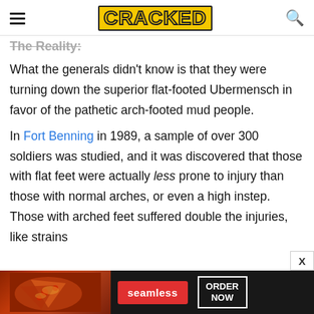CRACKED
The Reality:
What the generals didn't know is that they were turning down the superior flat-footed Ubermensch in favor of the pathetic arch-footed mud people.
In Fort Benning in 1989, a sample of over 300 soldiers was studied, and it was discovered that those with flat feet were actually less prone to injury than those with normal arches, or even a high instep. Those with arched feet suffered double the injuries, like strains
[Figure (other): Advertisement banner: Seamless food delivery app. Shows pizza image on left, 'seamless' red button in center, 'ORDER NOW' button with white border on right, on dark background.]